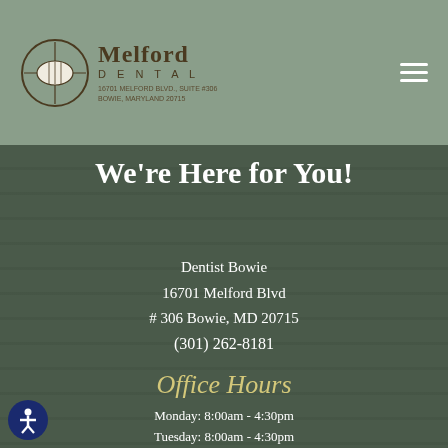Melford Dental
We're Here for You!
Dentist Bowie
16701 Melford Blvd
# 306 Bowie, MD 20715
(301) 262-8181
Office Hours
Monday: 8:00am - 4:30pm
Tuesday: 8:00am - 4:30pm
Wednesday: 8:00am - 4:30pm
Thursday: 8:00am - 4:30pm